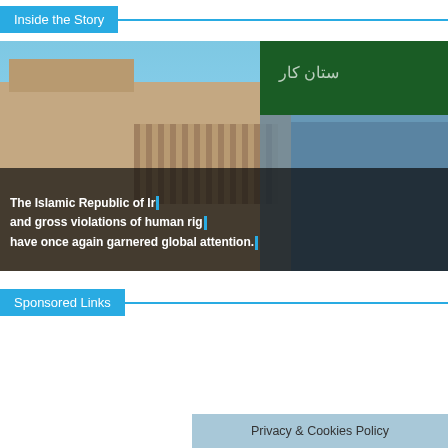Inside the Story
[Figure (photo): Screenshot of a video showing a Middle Eastern building with a green sign, overlaid with text: 'The Islamic Republic of Ir... and gross violations of human rig... have once again garnered global attention.']
Sponsored Links
Privacy & Cookies Policy